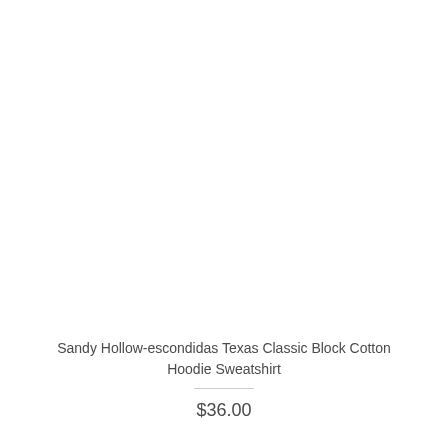[Figure (photo): Product image area showing a sweatshirt hoodie (image appears mostly white/blank)]
Sandy Hollow-escondidas Texas Classic Block Cotton Hoodie Sweatshirt
$36.00